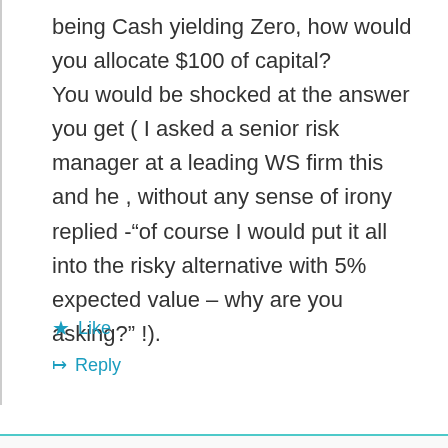being Cash yielding Zero, how would you allocate $100 of capital? You would be shocked at the answer you get ( I asked a senior risk manager at a leading WS firm this and he , without any sense of irony replied -“of course I would put it all into the risky alternative with 5% expected value – why are you asking?” !).
Like
Reply